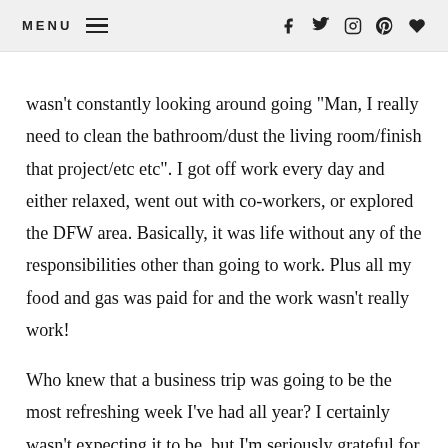MENU  f  twitter  instagram  pinterest  heart
wasn't constantly looking around going “Man, I really need to clean the bathroom/dust the living room/finish that project/etc etc”. I got off work every day and either relaxed, went out with co-workers, or explored the DFW area. Basically, it was life without any of the responsibilities other than going to work. Plus all my food and gas was paid for and the work wasn’t really work!
Who knew that a business trip was going to be the most refreshing week I’ve had all year? I certainly wasn’t expecting it to be, but I’m seriously grateful for the blessing that it was. It was a much needed reminder to remember to make time in my life for slowing down, for spending extra time in the...